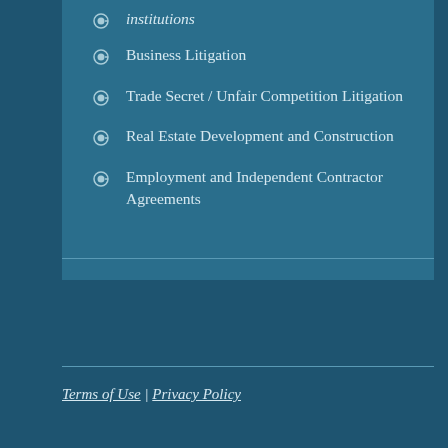institutions
Business Litigation
Trade Secret / Unfair Competition Litigation
Real Estate Development and Construction
Employment and Independent Contractor Agreements
Terms of Use | Privacy Policy